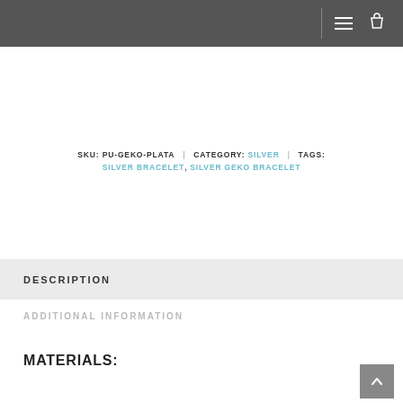Navigation header with hamburger menu and bag icon
SKU: PU-GEKO-PLATA | CATEGORY: SILVER | TAGS: SILVER BRACELET, SILVER GEKO BRACELET
DESCRIPTION
ADDITIONAL INFORMATION
MATERIALS: